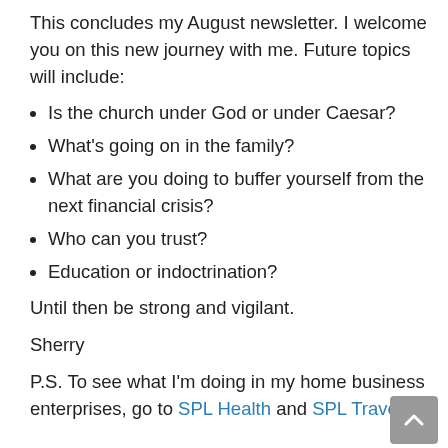This concludes my August newsletter.  I welcome you on this new journey with me.  Future topics will include:
Is the church under God or under Caesar?
What's going on in the family?
What are you doing to buffer yourself from the next financial crisis?
Who can you trust?
Education or indoctrination?
Until then be strong and vigilant.
Sherry
P.S. To see what I'm doing in my home business enterprises, go to SPL Health and SPL Travel